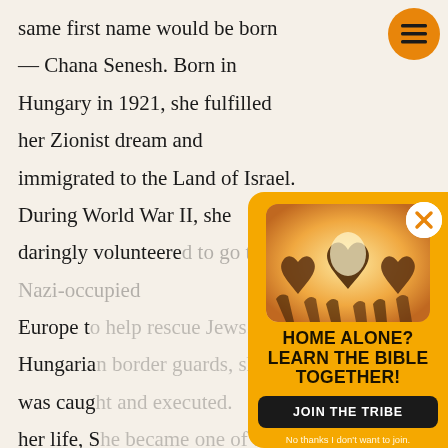same first name would be born — Chana Senesh. Born in Hungary in 1921, she fulfilled her Zionist dream and immigrated to the Land of Israel. During World War II, she daringly volunteered to go to Nazi-occupied Europe to help rescue Jews. Captured by Hungarian border guards, she was caught and executed. Despite her life, she became one of the most prominent Jewish figures remembered in Israel today. Among she wrote are poems expressing biblical motifs and expressing the idea of God, My God...
[Figure (other): Orange circular hamburger menu button in top right corner]
[Figure (photo): Photo of multiple hands forming heart shapes against a bright backlit background, used in a popup advertisement]
HOME ALONE? LEARN THE BIBLE TOGETHER!
JOIN THE TRIBE
No thanks I don't want to join.